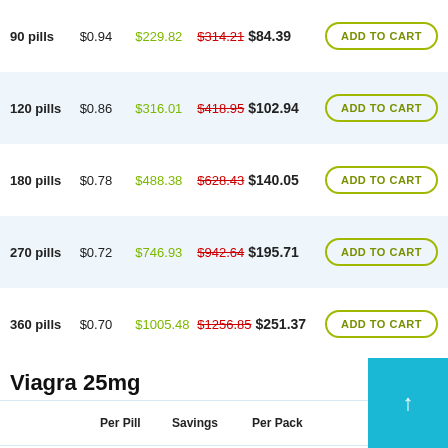|  | Per Pill | Savings | Per Pack |  |
| --- | --- | --- | --- | --- |
| 90 pills | $0.94 | $229.82 | $314.21 $84.39 | ADD TO CART |
| 120 pills | $0.86 | $316.01 | $418.95 $102.94 | ADD TO CART |
| 180 pills | $0.78 | $488.38 | $628.43 $140.05 | ADD TO CART |
| 270 pills | $0.72 | $746.93 | $942.64 $195.71 | ADD TO CART |
| 360 pills | $0.70 | $1005.48 | $1256.85 $251.37 | ADD TO CART |
Viagra 25mg
|  | Per Pill | Savings | Per Pack |  |
| --- | --- | --- | --- | --- |
| 30 pills | $1.36 |  | $40.73 | ADD TO CART |